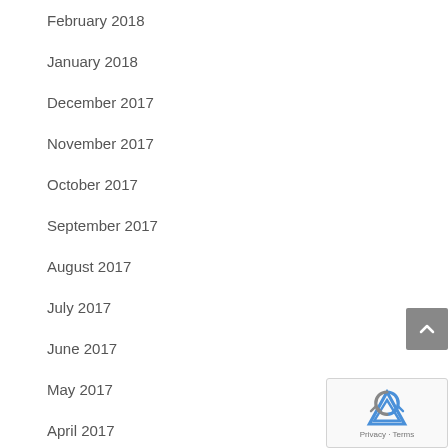February 2018
January 2018
December 2017
November 2017
October 2017
September 2017
August 2017
July 2017
June 2017
May 2017
April 2017
March 2017
February 2017
December 2016
November 2016